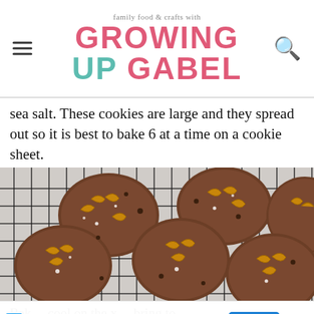family food & crafts with GROWING UP GABEL
sea salt. These cookies are large and they spread out so it is best to bake 6 at a time on a cookie sheet.
[Figure (photo): Chocolate pretzel cookies topped with sea salt on a wire cooling rack, viewed from above]
Bake ... cool on the x ... bring to... [partially obscured by ad]